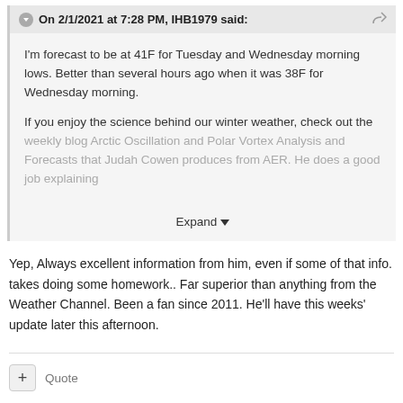On 2/1/2021 at 7:28 PM, IHB1979 said:
I'm forecast to be at 41F for Tuesday and Wednesday morning lows. Better than several hours ago when it was 38F for Wednesday morning.

If you enjoy the science behind our winter weather, check out the weekly blog Arctic Oscillation and Polar Vortex Analysis and Forecasts that Judah Cowen produces from AER.  He does a good job explaining
Expand
Yep, Always excellent information from him, even if some of that info. takes doing some homework.. Far superior than anything from the Weather Channel. Been a fan since 2011.   He'll have this weeks' update later this afternoon.
Quote